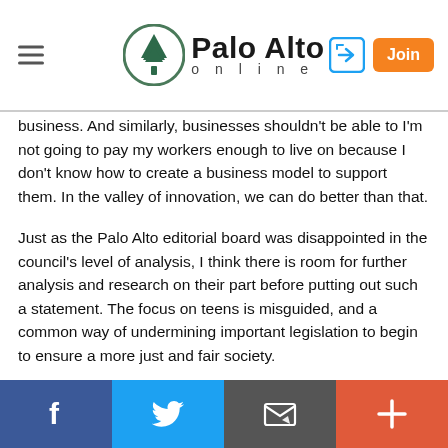Palo Alto Online
business. And similarly, businesses shouldn't be able to I'm not going to pay my workers enough to live on because I don't know how to create a business model to support them. In the valley of innovation, we can do better than that.
Just as the Palo Alto editorial board was disappointed in the council's level of analysis, I think there is room for further analysis and research on their part before putting out such a statement. The focus on teens is misguided, and a common way of undermining important legislation to begin to ensure a more just and fair society.
Here is a link to a talk Ken Jacobs, the Chair of the
Facebook | Twitter | Email | More